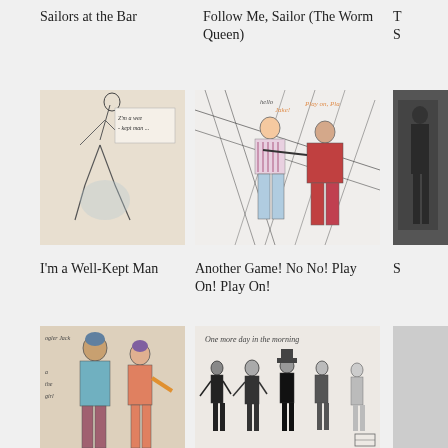Sailors at the Bar
Follow Me, Sailor (The Worm Queen)
[Figure (illustration): Pencil sketch of a figure in motion with handwritten text 'Z'm a well - kept man...']
[Figure (illustration): Colorful sketch of two figures with scribbled lines and handwritten text 'Another game! No No! Play on, Play on!']
I'm a Well-Kept Man
Another Game! No No! Play On! Play On!
[Figure (illustration): Colorful sketch of two standing figures with text 'ogler Jack' and 'the girl']
[Figure (illustration): Sketch of several figures in black with handwritten text 'One more day in the morning']